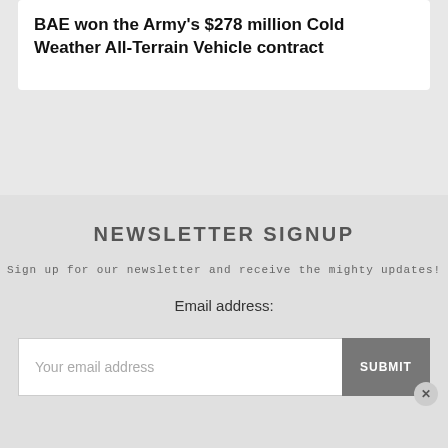BAE won the Army's $278 million Cold Weather All-Terrain Vehicle contract
NEWSLETTER SIGNUP
Sign up for our newsletter and receive the mighty updates!
Email address:
Your email address
SUBMIT